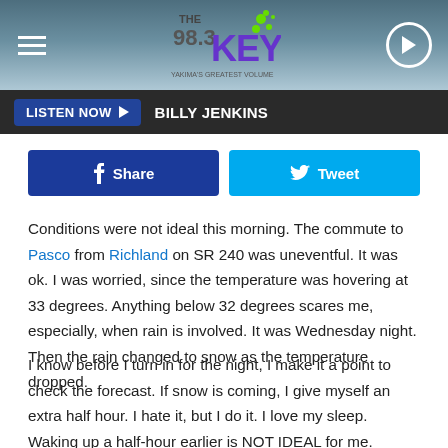THE 98.3 KEY | LISTEN NOW | BILLY JENKINS
[Figure (logo): The 98.3 Key radio station logo with green splatter design]
LISTEN NOW ▶  BILLY JENKINS
f Share   🐦 Tweet
Conditions were not ideal this morning. The commute to Pasco from Richland on SR 240 was uneventful. It was ok. I was worried, since the temperature was hovering at 33 degrees. Anything below 32 degrees scares me, especially, when rain is involved. It was Wednesday night. Then the rain changed to snow as the temperature dropped.
I know before I turn in for the night, I make it a point to check the forecast. If snow is coming, I give myself an extra half hour. I hate it, but I do it. I love my sleep. Waking up a half-hour earlier is NOT IDEAL for me.